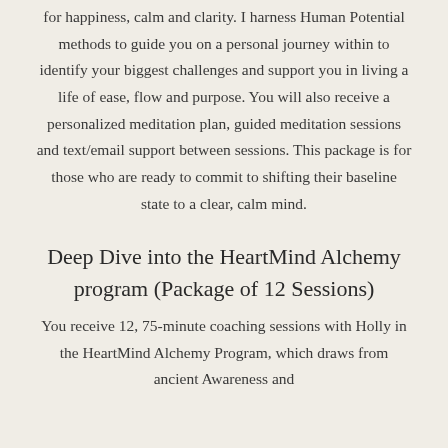for happiness, calm and clarity. I harness Human Potential methods to guide you on a personal journey within to identify your biggest challenges and support you in living a life of ease, flow and purpose. You will also receive a personalized meditation plan, guided meditation sessions and text/email support between sessions. This package is for those who are ready to commit to shifting their baseline state to a clear, calm mind.
Deep Dive into the HeartMind Alchemy program (Package of 12 Sessions)
You receive 12, 75-minute coaching sessions with Holly in the HeartMind Alchemy Program, which draws from ancient Awareness and